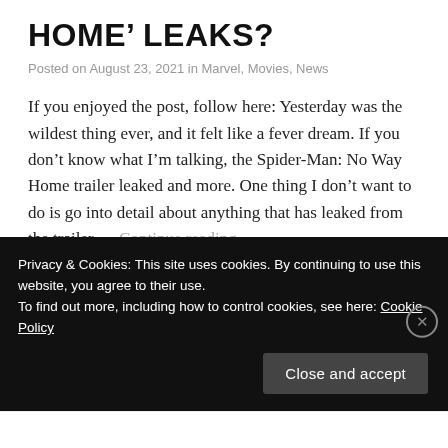HOME' LEAKS?
Posted on August 23, 2021 in Marvel, Movies, News
If you enjoyed the post, follow here: Yesterday was the wildest thing ever, and it felt like a fever dream. If you don’t know what I’m talking, the Spider-Man: No Way Home trailer leaked and more. One thing I don’t want to do is go into detail about anything that has leaked from the trailer … Continue reading →
Privacy & Cookies: This site uses cookies. By continuing to use this website, you agree to their use.
To find out more, including how to control cookies, see here: Cookie Policy
Close and accept